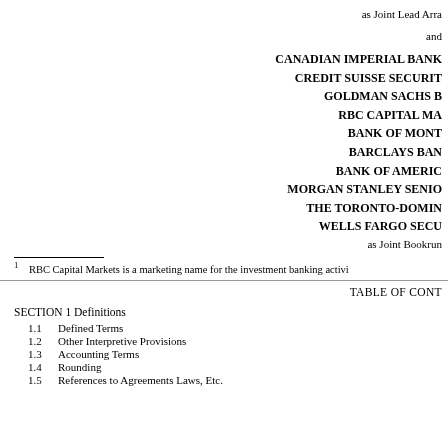as Joint Lead Arra
and
CANADIAN IMPERIAL BANK
CREDIT SUISSE SECURIT
GOLDMAN SACHS B
RBC CAPITAL MA
BANK OF MONT
BARCLAYS BAN
BANK OF AMERIC
MORGAN STANLEY SENIO
THE TORONTO-DOMIN
WELLS FARGO SECU
as Joint Bookrun
1    RBC Capital Markets is a marketing name for the investment banking activi
TABLE OF CONT
SECTION 1 Definitions
1.1    Defined Terms
1.2    Other Interpretive Provisions
1.3    Accounting Terms
1.4    Rounding
1.5    References to Agreements Laws, Etc.